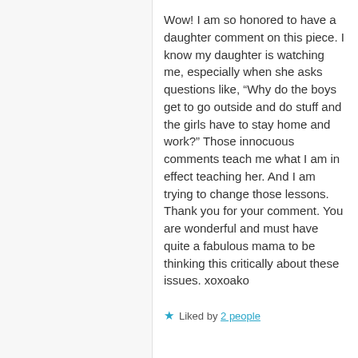Wow! I am so honored to have a daughter comment on this piece. I know my daughter is watching me, especially when she asks questions like, “Why do the boys get to go outside and do stuff and the girls have to stay home and work?” Those innocuous comments teach me what I am in effect teaching her. And I am trying to change those lessons. Thank you for your comment. You are wonderful and must have quite a fabulous mama to be thinking this critically about these issues. xoxoako
Liked by 2 people